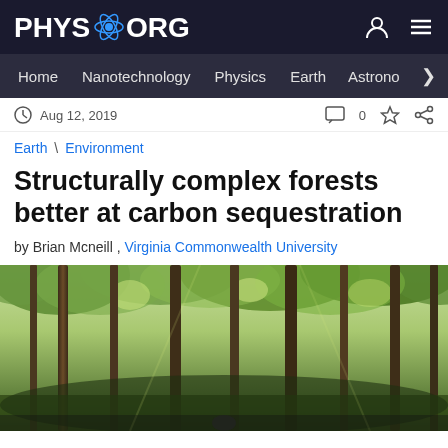PHYS.ORG
Home | Nanotechnology | Physics | Earth | Astronomy
Aug 12, 2019
Earth \ Environment
Structurally complex forests better at carbon sequestration
by Brian Mcneill , Virginia Commonwealth University
[Figure (photo): Looking upward through tall forest trees with green canopy against bright sky]